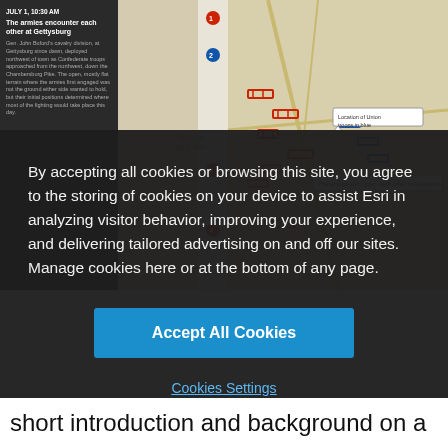[Figure (screenshot): Screenshot of Esri web application showing a Battle of Gettysburg interactive map with a dark left panel showing event details for July 1, 10:30 AM 'The armies encounter each other at Gettysburg', numbered timeline markers, and a map view with troop positions in red and blue.]
By accepting all cookies or browsing this site, you agree to the storing of cookies on your device to assist Esri in analyzing visitor behavior, improving your experience, and delivering tailored advertising on and off our sites. Manage cookies here or at the bottom of any page.
Accept All Cookies
Cookies Settings
short introduction and background on a